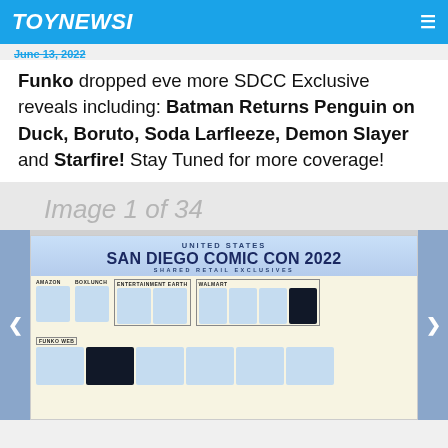TOYNEWSI
June 13, 2022
Funko dropped eve more SDCC Exclusive reveals including: Batman Returns Penguin on Duck, Boruto, Soda Larfleeze, Demon Slayer and Starfire! Stay Tuned for more coverage!
Image 1 of 34
[Figure (illustration): San Diego Comic Con 2022 Shared Retail Exclusives Funko Pop figure guide showing Amazon, BoxLunch, Entertainment Earth, Walmart, and Funko Web exclusives]